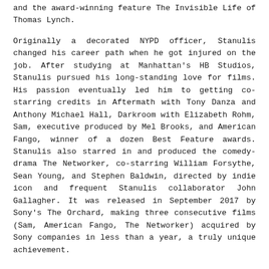and the award-winning feature The Invisible Life of Thomas Lynch.
Originally a decorated NYPD officer, Stanulis changed his career path when he got injured on the job. After studying at Manhattan's HB Studios, Stanulis pursued his long-standing love for films. His passion eventually led him to getting co-starring credits in Aftermath with Tony Danza and Anthony Michael Hall, Darkroom with Elizabeth Rohm, Sam, executive produced by Mel Brooks, and American Fango, winner of a dozen Best Feature awards. Stanulis also starred in and produced the comedy-drama The Networker, co-starring William Forsythe, Sean Young, and Stephen Baldwin, directed by indie icon and frequent Stanulis collaborator John Gallagher. It was released in September 2017 by Sony's The Orchard, making three consecutive films (Sam, American Fango, The Networker) acquired by Sony companies in less than a year, a truly unique achievement.